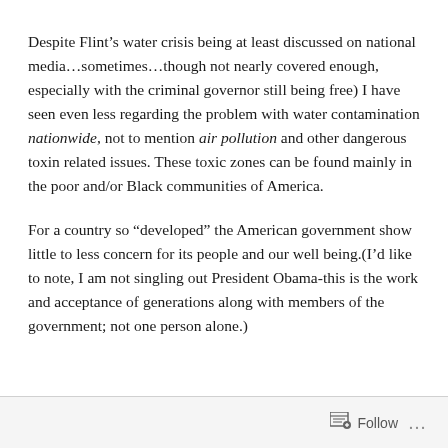Despite Flint's water crisis being at least discussed on national media...sometimes...though not nearly covered enough, especially with the criminal governor still being free) I have seen even less regarding the problem with water contamination nationwide, not to mention air pollution and other dangerous toxin related issues. These toxic zones can be found mainly in the poor and/or Black communities of America.
For a country so “developed” the American government show little to less concern for its people and our well being.(I’d like to note, I am not singling out President Obama-this is the work and acceptance of generations along with members of the government; not one person alone.)
Follow